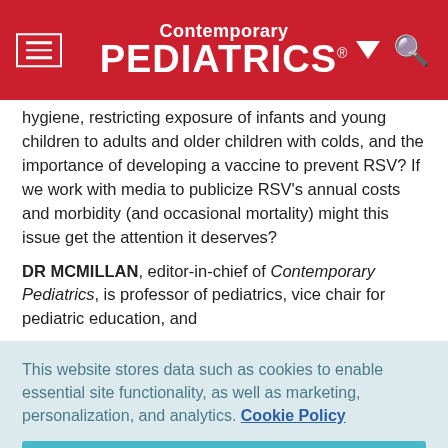Contemporary PEDIATRICS
hygiene, restricting exposure of infants and young children to adults and older children with colds, and the importance of developing a vaccine to prevent RSV? If we work with media to publicize RSV's annual costs and morbidity (and occasional mortality) might this issue get the attention it deserves?
DR MCMILLAN, editor-in-chief of Contemporary Pediatrics, is professor of pediatrics, vice chair for pediatric education, and
This website stores data such as cookies to enable essential site functionality, as well as marketing, personalization, and analytics. Cookie Policy
Accept
Deny